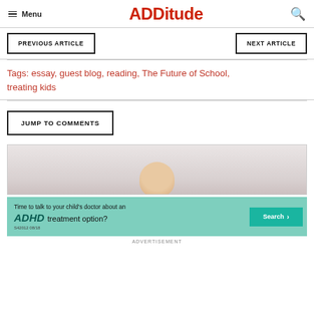Menu | ADDitude
PREVIOUS ARTICLE | NEXT ARTICLE
Tags: essay, guest blog, reading, The Future of School, treating kids
JUMP TO COMMENTS
[Figure (photo): Partial view of a child's head, light-colored hair, on a light background]
[Figure (infographic): Advertisement banner: Time to talk to your child's doctor about an ADHD treatment option? Search. S42012 08/18]
ADVERTISEMENT